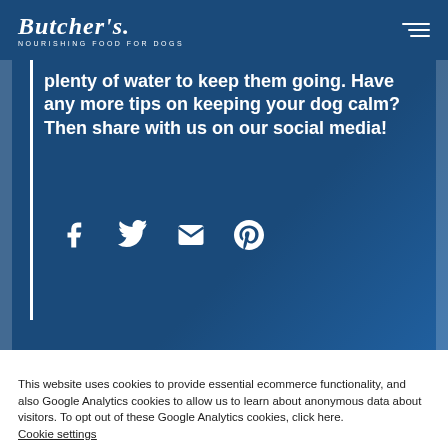Butcher's — NOURISHING FOOD FOR DOGS
plenty of water to keep them going. Have any more tips on keeping your dog calm? Then share with us on our social media!
[Figure (infographic): Social media sharing icons: Facebook, Twitter, Email, Pinterest]
This website uses cookies to provide essential ecommerce functionality, and also Google Analytics cookies to allow us to learn about anonymous data about visitors. To opt out of these Google Analytics cookies, click here. Cookie settings
ACCEPT ALL